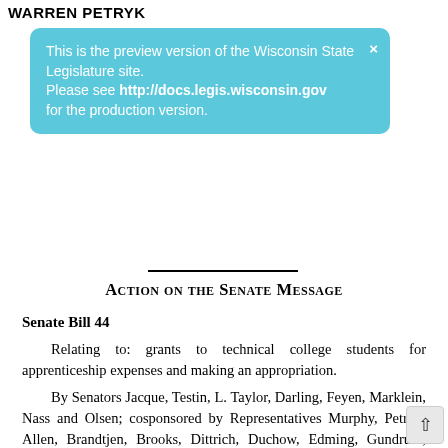WARREN PETRYK
This is the preview version of the Wisconsin State Legislature site. Please see http://docs.legis.wisconsin.gov for the production version.
Action on the Senate Message
Senate Bill 44
Relating to: grants to technical college students for apprenticeship expenses and making an appropriation.
By Senators Jacque, Testin, L. Taylor, Darling, Feyen, Marklein, Nass and Olsen; cosponsored by Representatives Murphy, Petryk, Allen, Brandtjen, Brooks, Dittrich, Duchow, Edming, Gundrum, Horlacher, Jagler, Oldenburg, Ramthun, Subeck, Thiesfeldt, Tusler, Wichgers, Zimmerman and Summerfield.